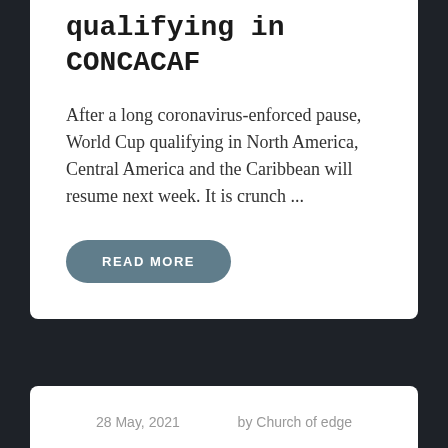qualifying in CONCACAF
After a long coronavirus-enforced pause, World Cup qualifying in North America, Central America and the Caribbean will resume next week. It is crunch ...
READ MORE
28 May, 2021
by Church of edge